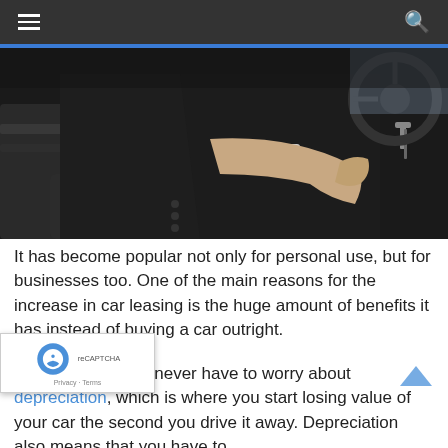Navigation bar with hamburger menu and search icon
[Figure (photo): A person in a dark business suit driving a car, hand on gear shift, keys visible in ignition]
It has become popular not only for personal use, but for businesses too. One of the main reasons for the increase in car leasing is the huge amount of benefits it has instead of buying a car outright.
No depreciation
With leasing you'll never have to worry about depreciation, which is where you start losing value of your car the second you drive it away. Depreciation also means that you have to